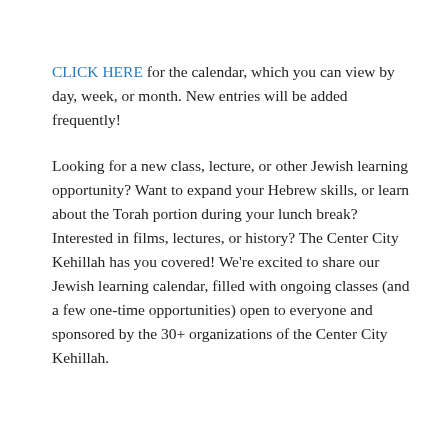CLICK HERE for the calendar, which you can view by day, week, or month. New entries will be added frequently!
Looking for a new class, lecture, or other Jewish learning opportunity? Want to expand your Hebrew skills, or learn about the Torah portion during your lunch break? Interested in films, lectures, or history? The Center City Kehillah has you covered! We're excited to share our Jewish learning calendar, filled with ongoing classes (and a few one-time opportunities) open to everyone and sponsored by the 30+ organizations of the Center City Kehillah.